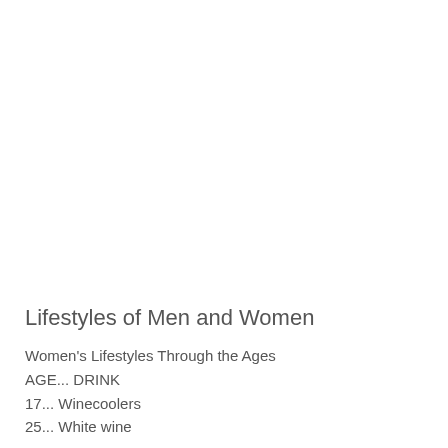Lifestyles of Men and Women
Women's Lifestyles Through the Ages
AGE... DRINK
17... Winecoolers
25... White wine